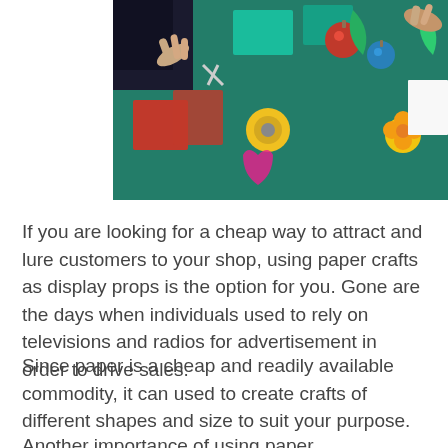[Figure (photo): Overhead view of a crafting table with colorful paper crafts, scissors, and decorative items on a teal cutting mat]
If you are looking for a cheap way to attract and lure customers to your shop, using paper crafts as display props is the option for you. Gone are the days when individuals used to rely on televisions and radios for advertisement in order to drive sales.
Since paper is a cheap and readily available commodity, it can used to create crafts of different shapes and size to suit your purpose.
Another importance of using paper